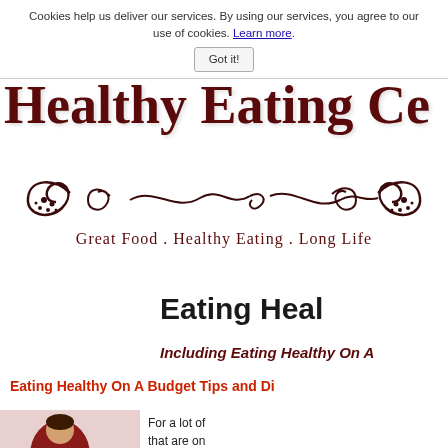Cookies help us deliver our services. By using our services, you agree to our use of cookies. Learn more. Got it!
Healthy Eating Ce[nter]
[Figure (illustration): Ornamental curly vine/swirl decorative divider in dark brown/maroon color]
Great Food . Healthy Eating . Long Life
Eating Heal[thy]
Including Eating Healthy On A[...]
Eating Healthy On A Budget Tips and Di[...]
[Figure (photo): Person in red top holding cash/money bills]
For a lot of ... that are on ... from mrts...